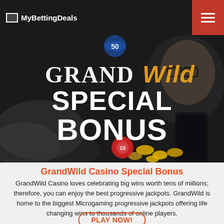MyBettingDeals
[Figure (illustration): GrandWild Casino Special Bonus promotional banner: dark background with casino chips and coins, a man with glasses reacting in shock holding a smartphone. Text reads 'GRANDWILD SPECIAL BONUS' in large bold white letters with gold/orange Wild lettering.]
GrandWild Casino Special Bonus
GrandWild Casino loves celebrating big wins worth tens of millions; therefore, you can enjoy the best progressive jackpots. GrandWild is home to the biggest Microgaming progressive jackpots offering life changing wins to thousands of online players.
PLAY NOW!